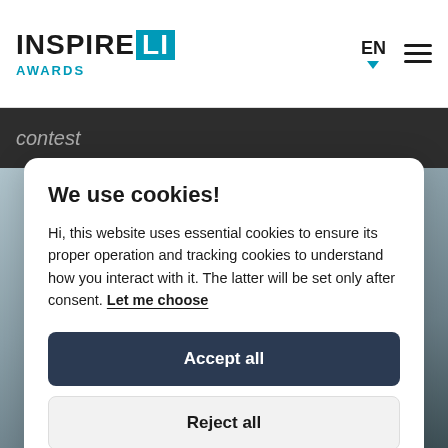INSPIRE LI AWARDS
contest
We use cookies!
Hi, this website uses essential cookies to ensure its proper operation and tracking cookies to understand how you interact with it. The latter will be set only after consent. Let me choose
Accept all
Reject all